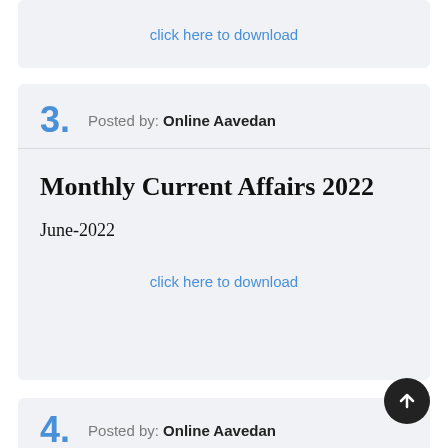click here to download
Posted by: Online Aavedan
Monthly Current Affairs 2022
June-2022
click here to download
Posted by: Online Aavedan